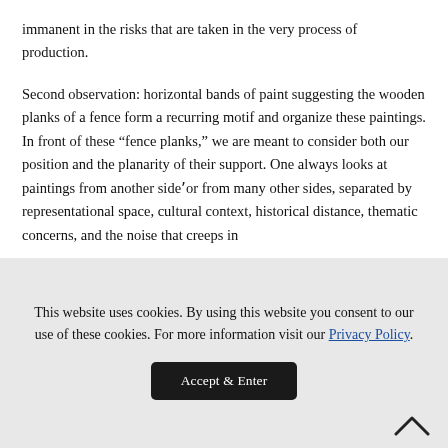immanent in the risks that are taken in the very process of production.
Second observation: horizontal bands of paint suggesting the wooden planks of a fence form a recurring motif and organize these paintings. In front of these “fence planks,” we are meant to consider both our position and the planarity of their support. One always looks at paintings from another sideʼor from many other sides, separated by representational space, cultural context, historical distance, thematic concerns, and the noise that creeps in
This website uses cookies. By using this website you consent to our use of these cookies. For more information visit our Privacy Policy.